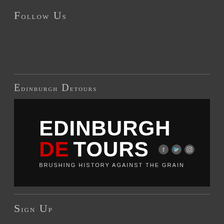Follow Us
Edinburgh Detours
[Figure (logo): Edinburgh Detours logo on black background. Large bold white text reads EDINBURGH on top line, then DE in red and TOURS in white on second line, with social media icons (Facebook, Twitter, Instagram) to the right. Tagline below reads: BRUSHING HISTORY AGAINST THE GRAIN]
Sign Up